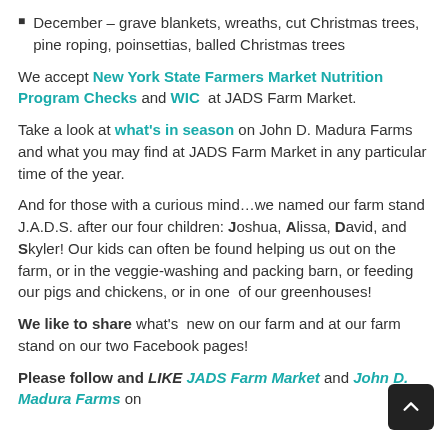December – grave blankets, wreaths, cut Christmas trees, pine roping, poinsettias, balled Christmas trees
We accept New York State Farmers Market Nutrition Program Checks and WIC at JADS Farm Market.
Take a look at what's in season on John D. Madura Farms and what you may find at JADS Farm Market in any particular time of the year.
And for those with a curious mind…we named our farm stand J.A.D.S. after our four children: Joshua, Alissa, David, and Skyler! Our kids can often be found helping us out on the farm, or in the veggie-washing and packing barn, or feeding our pigs and chickens, or in one of our greenhouses!
We like to share what's new on our farm and at our farm stand on our two Facebook pages!
Please follow and LIKE JADS Farm Market and John D. Madura Farms on